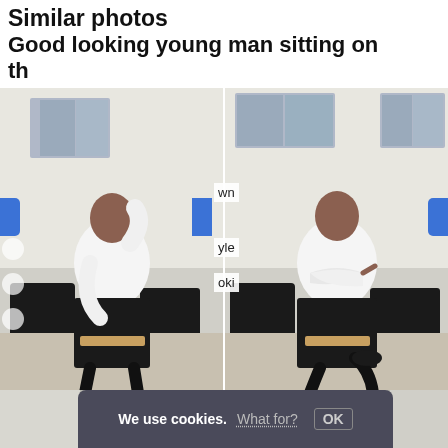Similar photos
Good looking young man sitting on the
[Figure (screenshot): Two side-by-side stock photos of a young man sitting on a chair. Left photo: man with hand on head, wearing white shirt and black pants. Right photo: same man with arms crossed. Both photos show a waiting room background. Blue navigation buttons visible on sides. Partial overlay text visible in center: 'wn', 'yle', 'oki'.]
Photo: Dmitry Nikulnikov. Model: Jean michel
Good looking young man sitting on the chair   Good looking young man sitting on the chair
[Figure (screenshot): Cookie consent bar overlay reading: 'We use cookies. What for? OK']